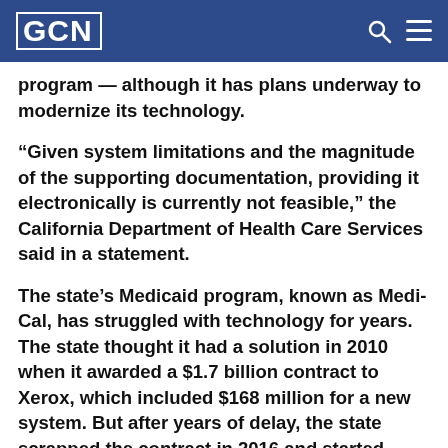GCN
program — although it has plans underway to modernize its technology.
“Given system limitations and the magnitude of the supporting documentation, providing it electronically is currently not feasible,” the California Department of Health Care Services said in a statement.
The state’s Medicaid program, known as Medi-Cal, has struggled with technology for years. The state thought it had a solution in 2010 when it awarded a $1.7 billion contract to Xerox, which included $168 million for a new system. But after years of delay, the state scrapped the contract in 2016 and started from scratch, leaving the patchwork system